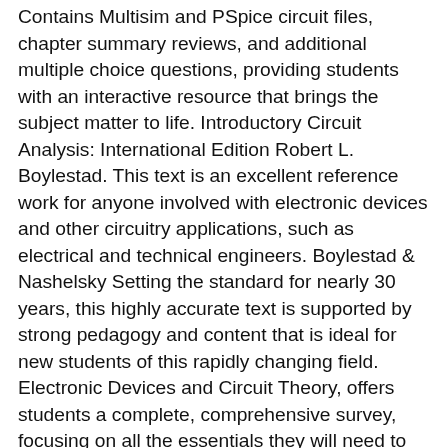Contains Multisim and PSpice circuit files, chapter summary reviews, and additional multiple choice questions, providing students with an interactive resource that brings the subject matter to life. Introductory Circuit Analysis: International Edition Robert L. Boylestad. This text is an excellent reference work for anyone involved with electronic devices and other circuitry applications, such as electrical and technical engineers. Boylestad & Nashelsky Setting the standard for nearly 30 years, this highly accurate text is supported by strong pedagogy and content that is ideal for new students of this rapidly changing field. Electronic Devices and Circuit Theory, offers students a complete, comprehensive survey, focusing on all the essentials they will need to succeed on the job. The text identifies the circuits and components within a system, helping students see how the circuit relates to the overall system function. Use features like bookmarks, note taking and highlighting while reading Electronics Fundamentals: Pearson New International Edition: Circuits, Devices & Applications. Download it once and read it on